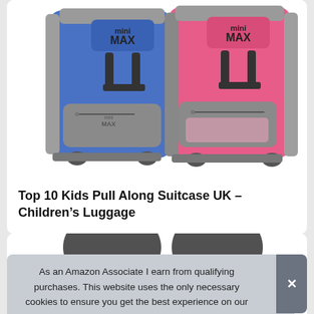[Figure (photo): Two mini MAX children's wheeled luggage backpacks side by side — one blue and one pink — with grey trim and zipper pockets, shown on a white background.]
Top 10 Kids Pull Along Suitcase UK – Children's Luggage
[Figure (photo): Partial view of another product image visible behind the cookie banner]
As an Amazon Associate I earn from qualifying purchases. This website uses the only necessary cookies to ensure you get the best experience on our website. More information